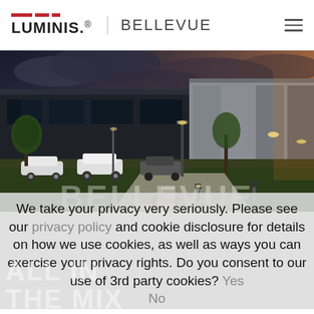LUMINIS. BELLEVUE
[Figure (photo): Night-time architectural rendering of a modern commercial building with parking lot, cars, trees, and outdoor lighting fixtures, with dramatic cloudy sky.]
BELLEVUE
We take your privacy very seriously. Please see our privacy policy and cookie disclosure for details on how we use cookies, as well as ways you can exercise your privacy rights. Do you consent to our use of 3rd party cookies? Yes No
ALL IN
THE MIX